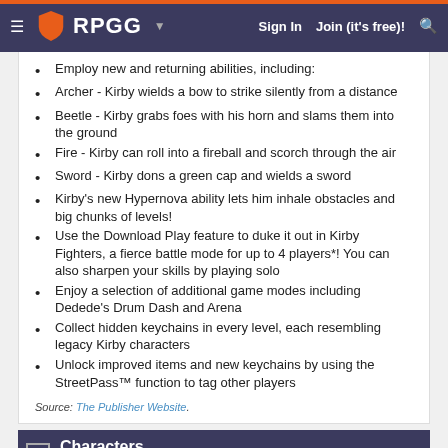RPGG | Sign In | Join (it's free)!
Employ new and returning abilities, including:
Archer - Kirby wields a bow to strike silently from a distance
Beetle - Kirby grabs foes with his horn and slams them into the ground
Fire - Kirby can roll into a fireball and scorch through the air
Sword - Kirby dons a green cap and wields a sword
Kirby's new Hypernova ability lets him inhale obstacles and big chunks of levels!
Use the Download Play feature to duke it out in Kirby Fighters, a fierce battle mode for up to 4 players*! You can also sharpen your skills by playing solo
Enjoy a selection of additional game modes including Dedede's Drum Dash and Arena
Collect hidden keychains in every level, each resembling legacy Kirby characters
Unlock improved items and new keychains by using the StreetPass™ function to tag other players
Source: The Publisher Website.
Characters
[Add Character] [Browse]    Pg. 1